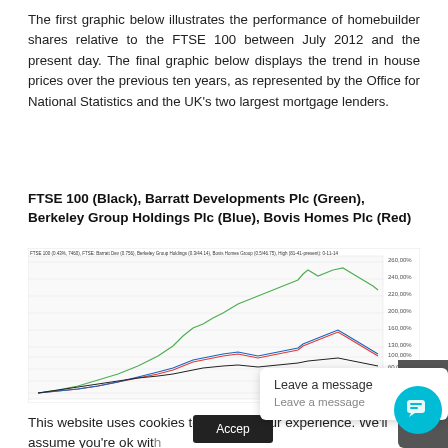The first graphic below illustrates the performance of homebuilder shares relative to the FTSE 100 between July 2012 and the present day. The final graphic below displays the trend in house prices over the previous ten years, as represented by the Office for National Statistics and the UK's two largest mortgage lenders.
FTSE 100 (Black), Barratt Developments Plc (Green), Berkeley Group Holdings Plc (Blue), Bovis Homes Plc (Red)
[Figure (continuous-plot): Line chart showing performance of FTSE 100 (black), Barratt Developments Plc (green), Berkeley Group Holdings Plc (blue), and Bovis Homes Plc (red) from July 2012 to present. The green line (Barratt) rises steeply to ~260%, the blue and red lines track together rising to ~100-120% before declining. Y-axis shows percentage values from -40% to 260%.]
This website uses cookies to improve your experience. We'll assume you're ok with this, but you can opt-out if you wish.
Leave a message
Leave a message